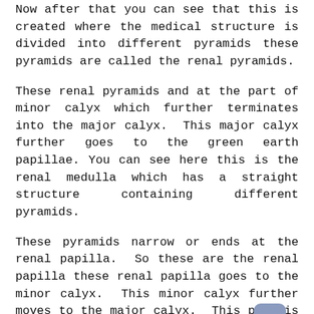Now after that you can see that this is created where the medical structure is divided into different pyramids these pyramids are called the renal pyramids.
These renal pyramids and at the part of minor calyx which further terminates into the major calyx. This major calyx further goes to the green earth papillae. You can see here this is the renal medulla which has a straight structure containing different pyramids.
These pyramids narrow or ends at the renal papilla. So these are the renal papilla these renal papilla goes to the minor calyx. This minor calyx further moves to the major calyx. This part is the minor calyx and this one is the major calyx which further terminates into the renal pelvis.
The portion is called as renal pelvis which further